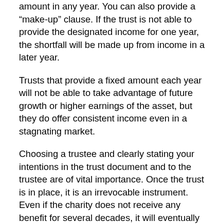amount in any year. You can also provide a “make-up” clause. If the trust is not able to provide the designated income for one year, the shortfall will be made up from income in a later year.
Trusts that provide a fixed amount each year will not be able to take advantage of future growth or higher earnings of the asset, but they do offer consistent income even in a stagnating market.
Choosing a trustee and clearly stating your intentions in the trust document and to the trustee are of vital importance. Once the trust is in place, it is an irrevocable instrument. Even if the charity does not receive any benefit for several decades, it will eventually assume ownership. In the meantime, the trustee is in charge of controlling the assets in the trust. Choose someone who knows how to handle financial matters and who will carry out your intentions.
A charitable remainder trust may allow you to make a